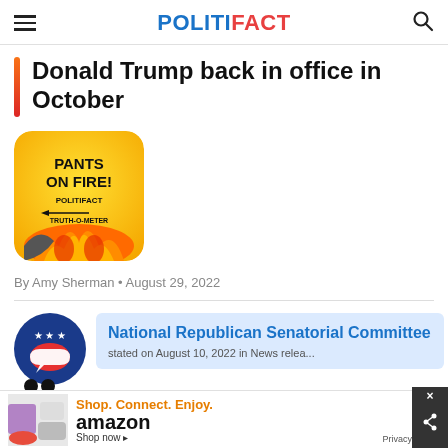POLITIFACT
Donald Trump back in office in October
[Figure (illustration): Pants on Fire! PolitiFact Truth-O-Meter rating image with flames on yellow/orange background]
By Amy Sherman • August 29, 2022
National Republican Senatorial Committee stated on August 10, 2022 in News release
Shop. Connect. Enjoy. amazon Shop now ▸ Privacy